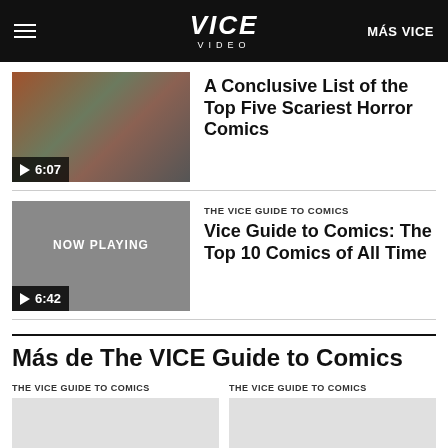VICE VIDEO | MÁS VICE
[Figure (screenshot): Video thumbnail showing a man with a book and colorful parrot image, with play button and duration 6:07]
A Conclusive List of the Top Five Scariest Horror Comics
[Figure (screenshot): Gray video thumbnail with NOW PLAYING label, play button and duration 6:42]
THE VICE GUIDE TO COMICS
Vice Guide to Comics: The Top 10 Comics of All Time
Más de The VICE Guide to Comics
THE VICE GUIDE TO COMICS
THE VICE GUIDE TO COMICS